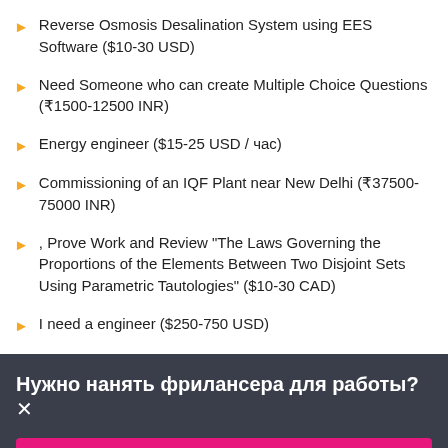Reverse Osmosis Desalination System using EES Software ($10-30 USD)
Need Someone who can create Multiple Choice Questions (₹1500-12500 INR)
Energy engineer ($15-25 USD / час)
Commissioning of an IQF Plant near New Delhi (₹37500-75000 INR)
, Prove Work and Review "The Laws Governing the Proportions of the Elements Between Two Disjoint Sets Using Parametric Tautologies" ($10-30 CAD)
I need a engineer ($250-750 USD)
Нужно нанять фрилансера для работы?×
Опубликовать проект